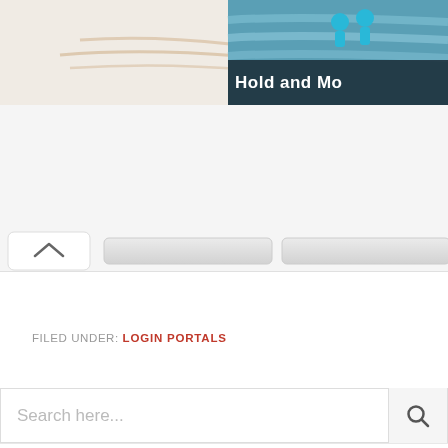[Figure (screenshot): Top banner area with beige/sandy background and partial image on right side showing teal/cyan colored figures and text 'Hold and Mo...' in white bold font on dark background]
[Figure (screenshot): Navigation tab row with a collapse/chevron-up tab on left and two gray pill-shaped tabs, followed by a white content area]
FILED UNDER: LOGIN PORTALS
[Figure (screenshot): Search bar with placeholder text 'Search here...' and a search icon button on the right]
[Figure (screenshot): Empty white content area below the search bar]